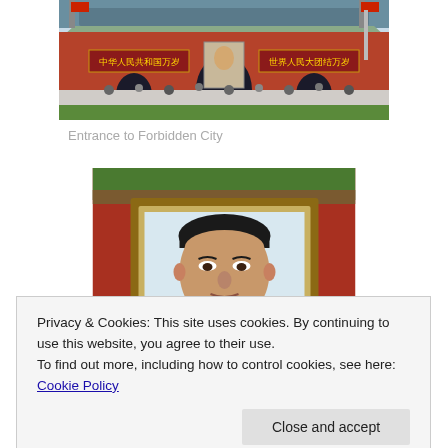[Figure (photo): Photo of the entrance to the Forbidden City (Tiananmen Gate) in Beijing, showing crowds of tourists, red walls, Chinese text banners, and Mao's portrait in the center.]
Entrance to Forbidden City
[Figure (photo): Close-up photo of Mao Zedong's portrait painting in a gold frame, mounted on the red wall of Tiananmen Gate, with green bushes visible at the top.]
Privacy & Cookies: This site uses cookies. By continuing to use this website, you agree to their use.
To find out more, including how to control cookies, see here: Cookie Policy
[Figure (photo): Partial view of Mao Zedong's portrait at the bottom of the page, showing the top portion of the portrait frame.]